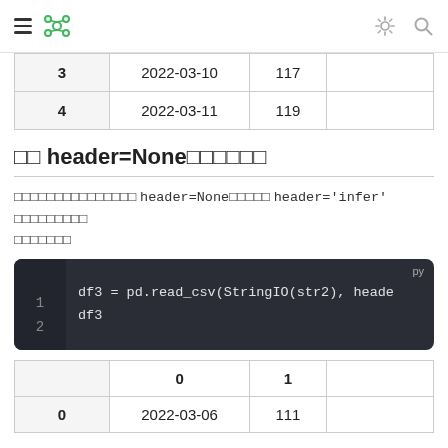Navigation bar with hamburger menu, logo, light/dark toggle, and search icon
| 3 | 2022-03-10 | 117 |
| 4 | 2022-03-11 | 119 |
□□ header=None□□□□□□
□□□□□□□□□□□□□□□ header=None□□□□□ header='infer' □□□□□□□□□ □□□□□□□
df3 = pd.read_csv(StringIO(str2), heade
df3
|  | 0 | 1 |  |
| --- | --- | --- | --- |
| 0 | 2022-03-06 | 111 |  |